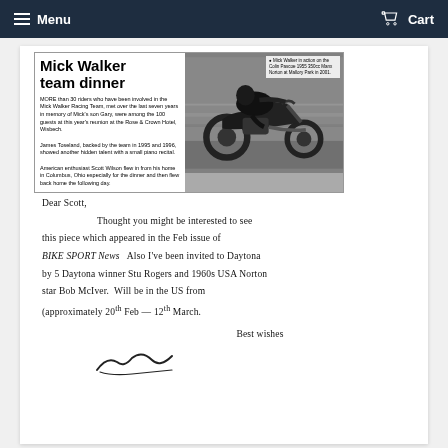Menu   Cart
[Figure (photo): Scanned newspaper clipping with headline 'Mick Walker team dinner', article text, and a photo of Mick Walker on a motorcycle at Mallory Park in 2001, with caption describing the image.]
Dear Scott,
        Thought you might be interested to see this piece which appeared in the Feb issue of BIKE SPORT News   Also I've been invited to Daytona by 5 Daytona winner Stu Rogers and 1960s USA Norton star Bob McIver.  Will be in the US from (approximately 20th Feb — 12th March.
             Best wishes
[signature]